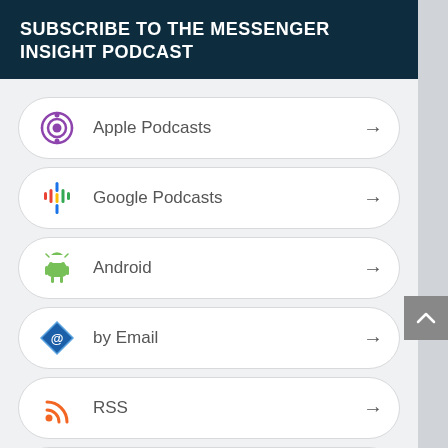SUBSCRIBE TO THE MESSENGER INSIGHT PODCAST
Apple Podcasts
Google Podcasts
Android
by Email
RSS
More Subscribe Options